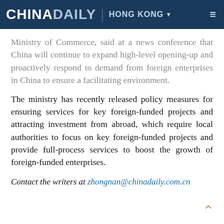CHINA DAILY | HONG KONG
Ministry of Commerce, said at a news conference that China will continue to expand high-level opening-up and proactively respond to demand from foreign enterprises in China to ensure a facilitating environment.
The ministry has recently released policy measures for ensuring services for key foreign-funded projects and attracting investment from abroad, which require local authorities to focus on key foreign-funded projects and provide full-process services to boost the growth of foreign-funded enterprises.
Contact the writers at zhongnan@chinadaily.com.cn